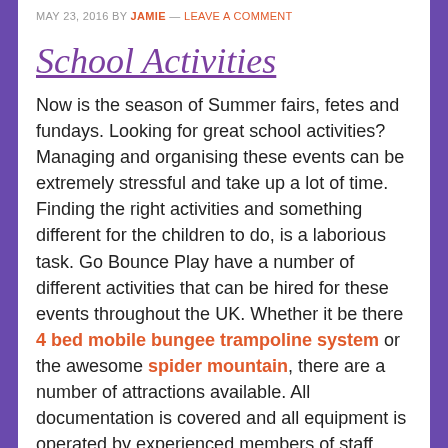MAY 23, 2016 BY JAMIE — LEAVE A COMMENT
School Activities
Now is the season of Summer fairs, fetes and fundays. Looking for great school activities? Managing and organising these events can be extremely stressful and take up a lot of time. Finding the right activities and something different for the children to do, is a laborious task. Go Bounce Play have a number of different activities that can be hired for these events throughout the UK. Whether it be there 4 bed mobile bungee trampoline system or the awesome spider mountain, there are a number of attractions available. All documentation is covered and all equipment is operated by experienced members of staff. This enables